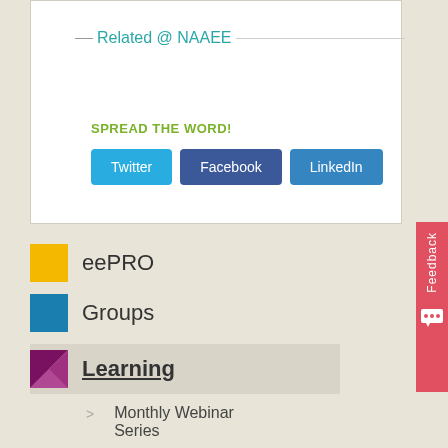Related @ NAAEE
SPREAD THE WORD!
Twitter  Facebook  LinkedIn
eePRO
Groups
Learning
> Monthly Webinar Series
> Webinars
> Workshops and Training